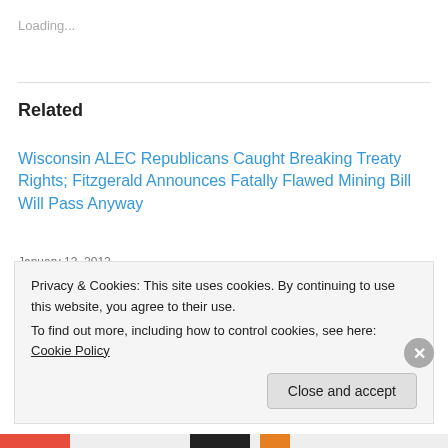Loading...
Related
Wisconsin ALEC Republicans Caught Breaking Treaty Rights; Fitzgerald Announces Fatally Flawed Mining Bill Will Pass Anyway
January 13, 2012
In "Badger Democracy"
Capitol Protesters Bused to DOA Facility Without Being Charged; Released to Find Way Back in Bitter Snowstorm
Privacy & Cookies: This site uses cookies. By continuing to use this website, you agree to their use. To find out more, including how to control cookies, see here: Cookie Policy
Close and accept